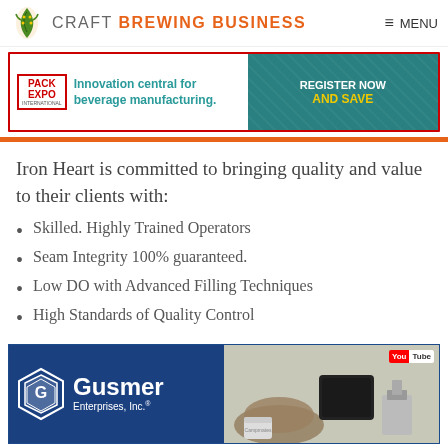CRAFT BREWING BUSINESS  MENU
[Figure (infographic): Pack Expo International advertisement banner: 'Innovation central for beverage manufacturing. REGISTER NOW AND SAVE']
Iron Heart is committed to bringing quality and value to their clients with:
Skilled. Highly Trained Operators
Seam Integrity 100% guaranteed.
Low DO with Advanced Filling Techniques
High Standards of Quality Control
[Figure (infographic): Gusmer Enterprises, Inc. advertisement banner with logo and product photos, YouTube badge]